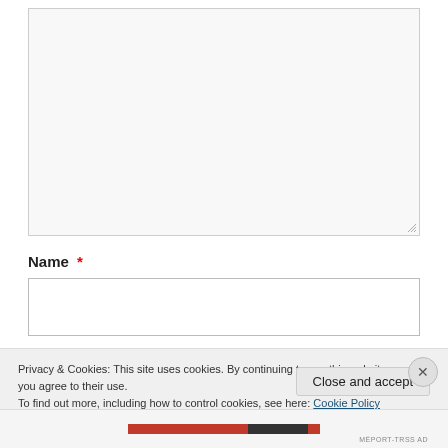[Figure (screenshot): Empty textarea input box with light gray background and resize handle at bottom-right]
Name *
[Figure (screenshot): Empty single-line text input box for Name field]
Privacy & Cookies: This site uses cookies. By continuing to use this website, you agree to their use.
To find out more, including how to control cookies, see here: Cookie Policy
Close and accept